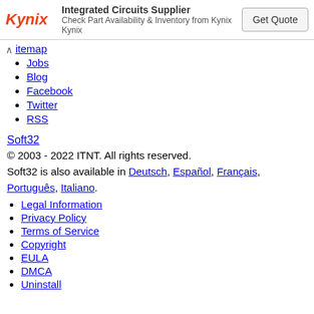[Figure (other): Kynix Integrated Circuits Supplier advertisement banner with logo, tagline, and Get Quote button]
itemap
Jobs
Blog
Facebook
Twitter
RSS
Soft32
© 2003 - 2022 ITNT. All rights reserved.
Soft32 is also available in Deutsch, Español, Français, Português, Italiano.
Legal Information
Privacy Policy
Terms of Service
Copyright
EULA
DMCA
Uninstall